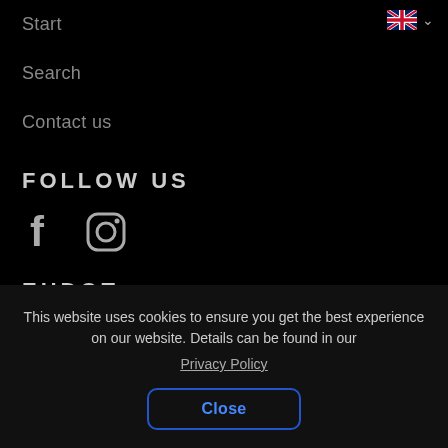Start
Search
Contact us
FOLLOW US
[Figure (illustration): Facebook and Instagram social media icons in white on black background]
EHDOT
Site description
This website uses cookies to ensure you get the best experience on our website. Details can be found in our Privacy Policy
Close